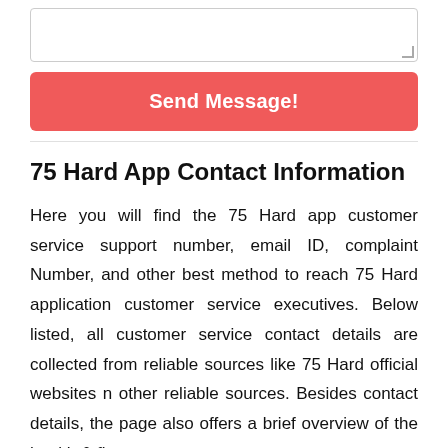[Figure (other): Empty textarea input box with resize handle]
[Figure (other): Red 'Send Message!' button]
75 Hard App Contact Information
Here you will find the 75 Hard app customer service support number, email ID, complaint Number, and other best method to reach 75 Hard application customer service executives. Below listed, all customer service contact details are collected from reliable sources like 75 Hard official websites n other reliable sources. Besides contact details, the page also offers a brief overview of the health & fitness app.